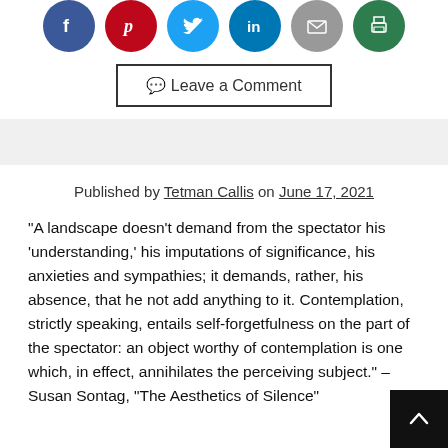[Figure (infographic): Six social media sharing icons in circles: Facebook (blue), Pinterest (red), Twitter (light blue), LinkedIn (blue), Email (gray), Print (green)]
💬 Leave a Comment
Published by Tetman Callis on June 17, 2021
“A landscape doesn’t demand from the spectator his ‘understanding,’ his imputations of significance, his anxieties and sympathies; it demands, rather, his absence, that he not add anything to it. Contemplation, strictly speaking, entails self-forgetfulness on the part of the spectator: an object worthy of contemplation is one which, in effect, annihilates the perceiving subject.” – Susan Sontag, “The Aesthetics of Silence”